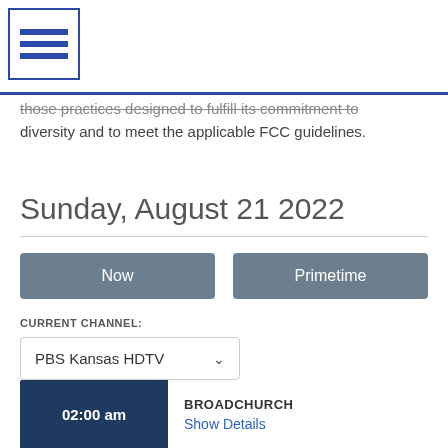[Figure (logo): Blue hamburger menu icon in a square border]
those practices designed to fulfill its commitment to diversity and to meet the applicable FCC guidelines.
Sunday, August 21 2022
Now
Primetime
CURRENT CHANNEL:
PBS Kansas HDTV
02:00 am
BROADCHURCH
Show Details